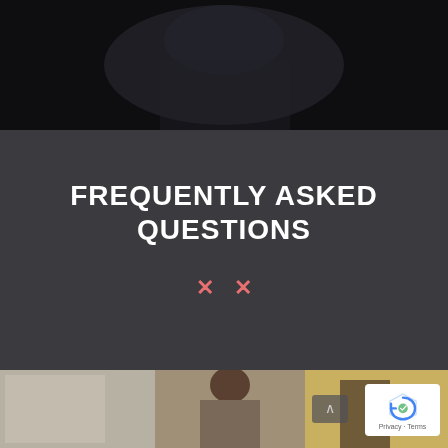[Figure (photo): Dark background photo at top of page, appears to show a person, mostly dark tones]
FREQUENTLY ASKED QUESTIONS
[Figure (illustration): Two red/salmon colored X marks as decorative dividers]
[Figure (photo): Bottom strip of photos showing before/after fitness transformation images of people]
[Figure (other): Google reCAPTCHA badge in bottom right corner with Privacy and Terms links]